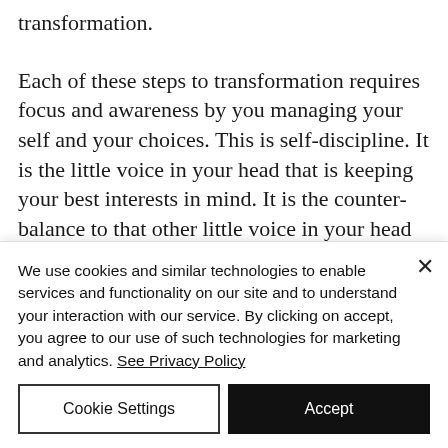transformation.
Each of these steps to transformation requires focus and awareness by you managing your self and your choices. This is self-discipline. It is the little voice in your head that is keeping your best interests in mind. It is the counter-balance to that other little voice in your head that says "I know I should
We use cookies and similar technologies to enable services and functionality on our site and to understand your interaction with our service. By clicking on accept, you agree to our use of such technologies for marketing and analytics. See Privacy Policy